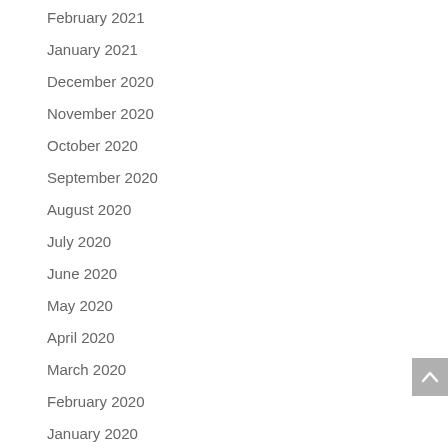February 2021
January 2021
December 2020
November 2020
October 2020
September 2020
August 2020
July 2020
June 2020
May 2020
April 2020
March 2020
February 2020
January 2020
October 2019